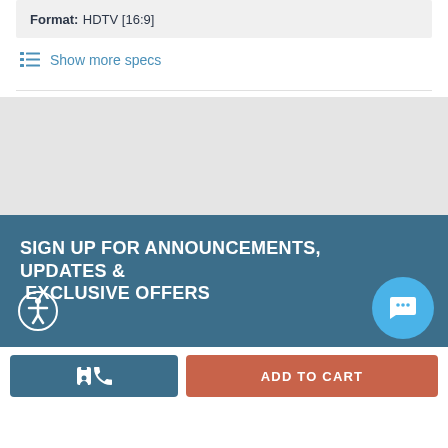Format: HDTV [16:9]
Show more specs
SIGN UP FOR ANNOUNCEMENTS, UPDATES & EXCLUSIVE OFFERS
ADD TO CART